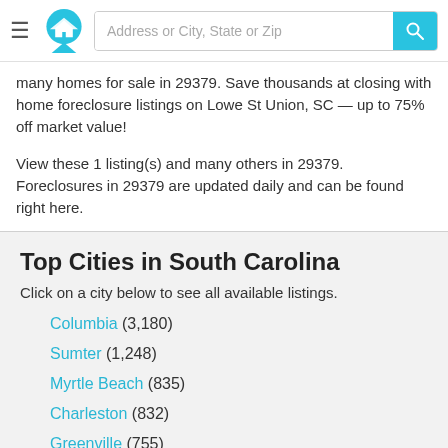Address or City, State or Zip [search bar with logo]
many homes for sale in 29379. Save thousands at closing with home foreclosure listings on Lowe St Union, SC — up to 75% off market value!
View these 1 listing(s) and many others in 29379. Foreclosures in 29379 are updated daily and can be found right here.
Top Cities in South Carolina
Click on a city below to see all available listings.
Columbia (3,180)
Sumter (1,248)
Myrtle Beach (835)
Charleston (832)
Greenville (755)